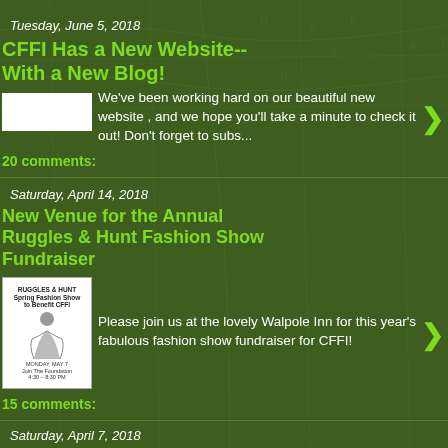Tuesday, June 5, 2018
CFFI Has a New Website-- With a New Blog!
We've been working hard on our beautiful new website , and we hope you'll take a minute to check it out! Don't forget to subs...
20 comments:
Saturday, April 14, 2018
New Venue for the Annual Ruggles & Hunt Fashion Show Fundraiser
Please join us at the lovely Walpole Inn for this year's fabulous fashion show fundraiser for CFFI!
15 comments:
Saturday, April 7, 2018